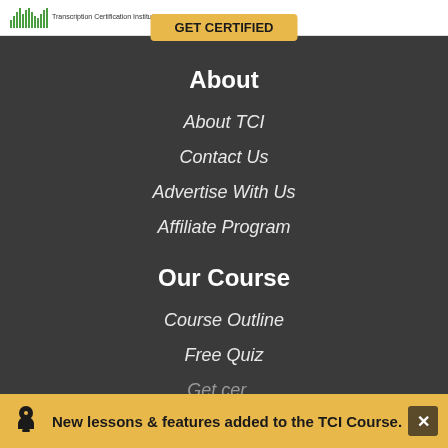Transcription Certification Institute
About
About TCI
Contact Us
Advertise With Us
Affiliate Program
Our Course
Course Outline
Free Quiz
New lessons & features added to the TCI Course.